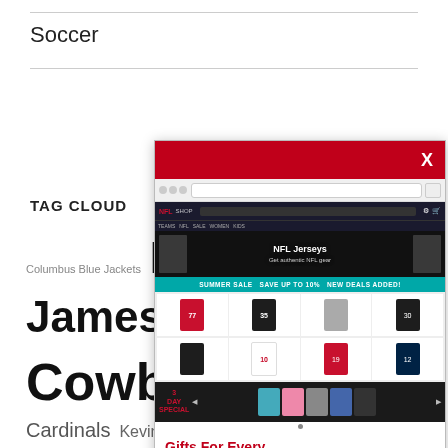Soccer
TAG CLOUD
Columbus Blue Jackets  LeBron James  Cowboys  wholesale jerseys  Cardinals  Kevin Durant  Lightning  Dallas Stars  Sharp  Blues  cheap elite jerseys  authentic jerseys  Bruins  wholesale china  Colts  Wild  Falcons  Kyrie Irving  Warriors  replica jerseys  Canadiens  Antti Niemi  jerseys  Russell Westbrook  Canucks  Seahawks  Blackhawks  cheap jerseys
[Figure (screenshot): Popup overlay showing an NFL jersey online shop website with a red header bar with X close button, site banner showing NFL jerseys promotion, teal sale bar, grid of jersey thumbnails, 3-day specials carousel, and red promotional text reading 'Gifts For Every Sports Fan·Types: Cheap Jerseys, T-Shirts, Hoodies,']